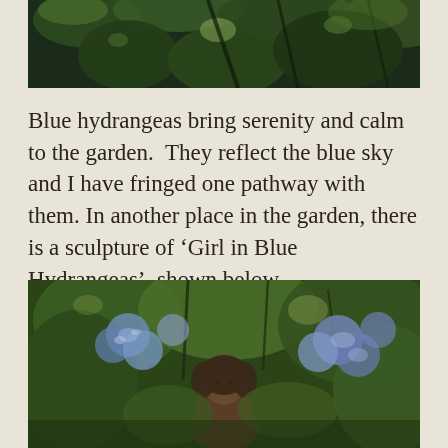[Figure (photo): Close-up photograph of green leaves and garden foliage, dark tones with dappled light, cropped at top of page.]
Blue hydrangeas bring serenity and calm to the garden.  They reflect the blue sky and I have fringed one pathway with them. In another place in the garden, there is a sculpture of ‘Girl in Blue Hydrangeas’, shown below.
[Figure (photo): Photograph of a bronze sculpture of a girl's head partially visible among blue hydrangea blooms and green garden foliage.]